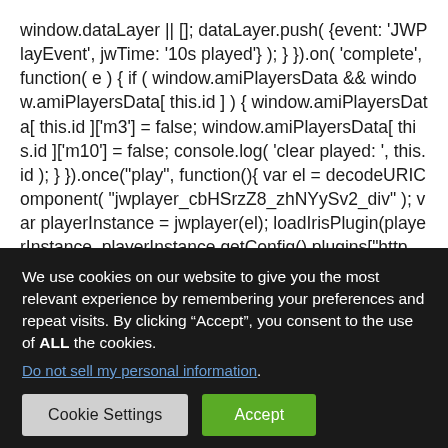window.dataLayer || []; dataLayer.push( {event: 'JWPlayEvent', jwTime: '10s played'} ); } }).on( 'complete', function( e ) { if ( window.amiPlayersData && window.amiPlayersData[ this.id ] ) { window.amiPlayersData[ this.id ]['m3'] = false; window.amiPlayersData[ this.id ]['m10'] = false; console.log( 'clear played: ', this.id ); } }).once("play", function(){ var el = decodeURIComponent( "jwplayer_cbHSrzZ8_zhNYySv2_div" ); var playerInstance = jwplayer(el); loadIrisPlugin(playerInstance, playerInstance.getConfig().plugins["https://evp.iris.tv/plugins
We use cookies on our website to give you the most relevant experience by remembering your preferences and repeat visits. By clicking “Accept”, you consent to the use of ALL the cookies.
Do not sell my personal information.